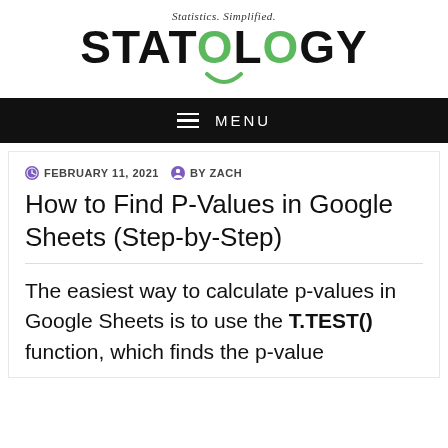Statistics. Simplified. STATOLOGY
MENU
FEBRUARY 11, 2021   BY ZACH
How to Find P-Values in Google Sheets (Step-by-Step)
The easiest way to calculate p-values in Google Sheets is to use the T.TEST() function, which finds the p-value